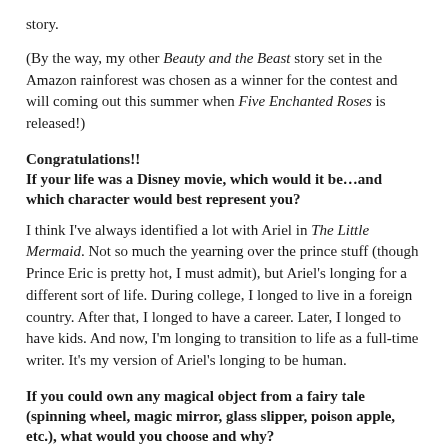story.
(By the way, my other Beauty and the Beast story set in the Amazon rainforest was chosen as a winner for the contest and will coming out this summer when Five Enchanted Roses is released!)
Congratulations!!
If your life was a Disney movie, which would it be…and which character would best represent you?
I think I've always identified a lot with Ariel in The Little Mermaid. Not so much the yearning over the prince stuff (though Prince Eric is pretty hot, I must admit), but Ariel's longing for a different sort of life. During college, I longed to live in a foreign country. After that, I longed to have a career. Later, I longed to have kids. And now, I'm longing to transition to life as a full-time writer. It's my version of Ariel's longing to be human.
If you could own any magical object from a fairy tale (spinning wheel, magic mirror, glass slipper, poison apple, etc.), what would you choose and why?